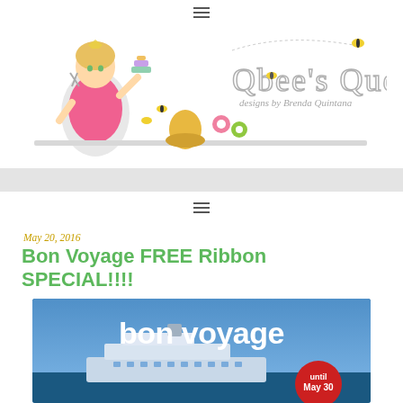≡ (hamburger menu icon)
[Figure (illustration): QBee's Quest blog logo: cartoon woman with crafting supplies on left, stylized text 'Qbee's Quest designs by Brenda Quintana' on right]
[Figure (other): Gray navigation bar with hamburger menu icon]
May 20, 2016
Bon Voyage FREE Ribbon SPECIAL!!!!
[Figure (photo): Promotional banner with blue sky and cruise ship, large white text 'bon voyage', red circular badge with white text 'until May 30']